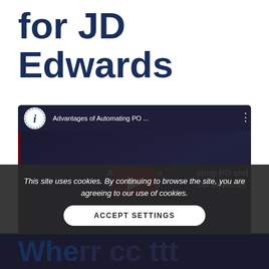for JD Edwards
[Figure (screenshot): YouTube video thumbnail showing 'Advantages of Automating PO and Non-PO Invoices for JD Edwards' with a play button overlay]
This site uses cookies. By continuing to browse the site, you are agreeing to our use of cookies.
ACCEPT SETTINGS
Whe...